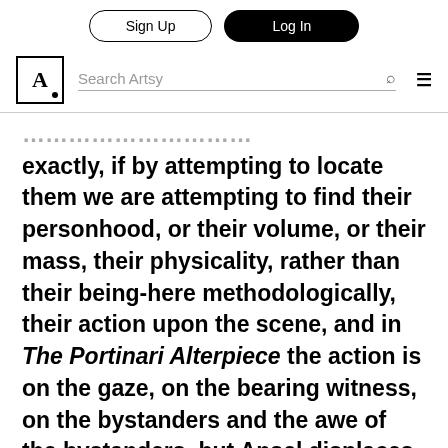Sign Up | Log In | Search Artsy
we dream work, and where are the angels exactly, if by attempting to locate them we are attempting to find their personhood, or their volume, or their mass, their physicality, rather than their being-here methodologically, their action upon the scene, and in The Portinari Alterpiece the action is on the gaze, on the bearing witness, on the bystanders and the awe of the bystanders, but Ansel displaces the gaze as the energy that most interests in the image,